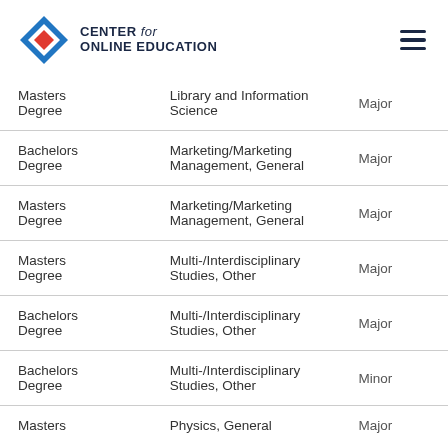CENTER for ONLINE EDUCATION
| Degree Type | Program | Type |
| --- | --- | --- |
| Masters Degree | Library and Information Science | Major |
| Bachelors Degree | Marketing/Marketing Management, General | Major |
| Masters Degree | Marketing/Marketing Management, General | Major |
| Masters Degree | Multi-/Interdisciplinary Studies, Other | Major |
| Bachelors Degree | Multi-/Interdisciplinary Studies, Other | Major |
| Bachelors Degree | Multi-/Interdisciplinary Studies, Other | Minor |
| Masters Degree | Physics, General | Major |